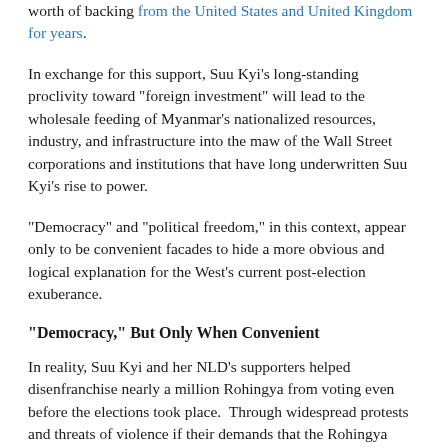worth of backing from the United States and United Kingdom for years.
In exchange for this support, Suu Kyi's long-standing proclivity toward "foreign investment" will lead to the wholesale feeding of Myanmar's nationalized resources, industry, and infrastructure into the maw of the Wall Street corporations and institutions that have long underwritten Suu Kyi's rise to power.
"Democracy" and "political freedom," in this context, appear only to be convenient facades to hide a more obvious and logical explanation for the West's current post-election exuberance.
"Democracy," But Only When Convenient
In reality, Suu Kyi and her NLD's supporters helped disenfranchise nearly a million Rohingya from voting even before the elections took place.  Through widespread protests and threats of violence if their demands that the Rohingya remain stripped of their voting rights were not met,